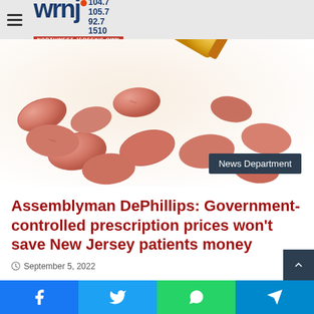wrnj 104.7 105.7 92.7 1510 NORTHWEST JERSEY'S OWN
[Figure (photo): Salmon/pink prescription pills spilled out of an orange pill bottle on a white background]
News Department
Assemblyman DePhillips: Government-controlled prescription prices won't save New Jersey patients money
September 5, 2022